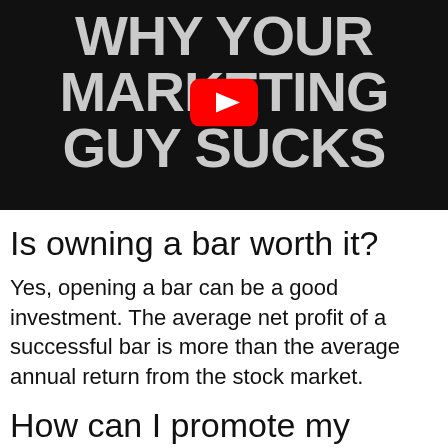[Figure (screenshot): YouTube video thumbnail with black background and large gray bold text reading 'WHY YOUR MARKETING GUY SUCKS' with a red YouTube play button in the center]
Is owning a bar worth it?
Yes, opening a bar can be a good investment. The average net profit of a successful bar is more than the average annual return from the stock market.
How can I promote my happy hour?